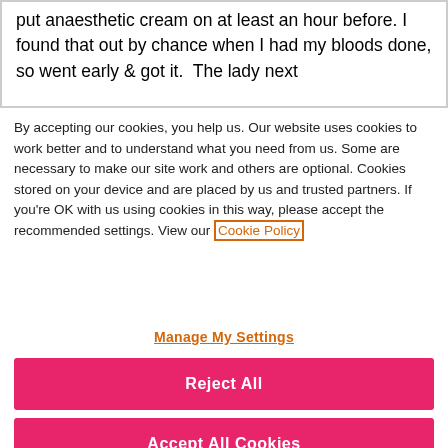put anaesthetic cream on at least an hour before. I found that out by chance when I had my bloods done, so went early & got it.  The lady next
By accepting our cookies, you help us. Our website uses cookies to work better and to understand what you need from us. Some are necessary to make our site work and others are optional. Cookies stored on your device and are placed by us and trusted partners. If you're OK with us using cookies in this way, please accept the recommended settings. View our Cookie Policy
Manage My Settings
Reject All
Accept All Cookies